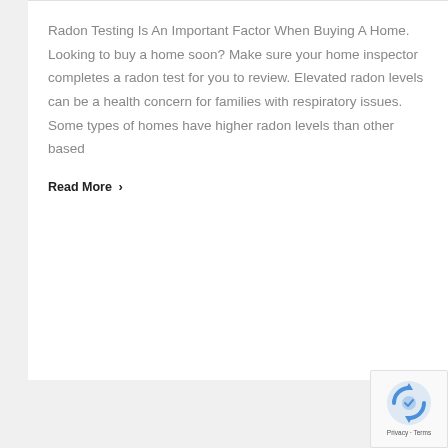Radon Testing Is An Important Factor When Buying A Home. Looking to buy a home soon? Make sure your home inspector completes a radon test for you to review. Elevated radon levels can be a health concern for families with respiratory issues. Some types of homes have higher radon levels than other based
Read More ›
[Figure (logo): Google reCAPTCHA badge with spinning arrows logo and Privacy · Terms text]